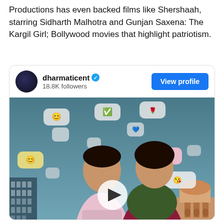Productions has even backed films like Shershaah, starring Sidharth Malhotra and Gunjan Saxena: The Kargil Girl; Bollywood movies that highlight patriotism.
[Figure (screenshot): A social media card for the account 'dharmaticent' with a verified badge and 18.8K followers, with a 'View profile' button. Below is a movie poster showing a man in a pink shirt and a woman in a saree with social media emoji chat bubbles floating around them, with a play button overlay and a blue info button.]